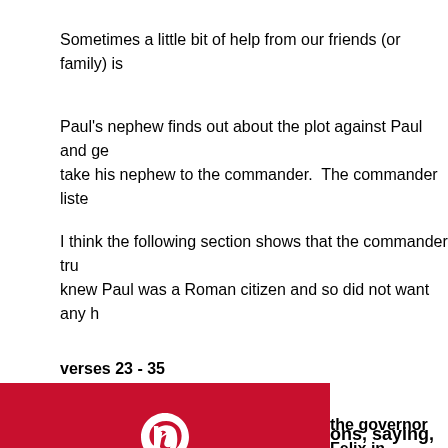Sometimes a little bit of help from our friends (or family) is
Paul's nephew finds out about the plot against Paul and ge... take his nephew to the commander.  The commander liste...
I think the following section shows that the commander tru... knew Paul was a Roman citizen and so did not want any h...
verses 23 - 35
ons, saying, "Prepa sarea at the third ho d bring him safely
s taking this threat so onsidered Paul an im
the governor Felix in